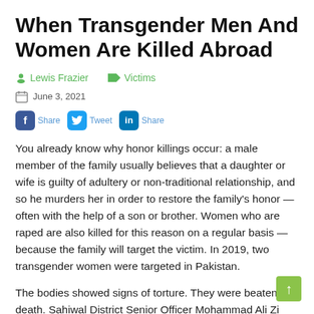When Transgender Men And Women Are Killed Abroad
Lewis Frazier   Victims
June 3, 2021
Share  Tweet  Share
You already know why honor killings occur: a male member of the family usually believes that a daughter or wife is guilty of adultery or non-traditional relationship, and so he murders her in order to restore the family's honor — often with the help of a son or brother. Women who are raped are also killed for this reason on a regular basis — because the family will target the victim. In 2019, two transgender women were targeted in Pakistan.
The bodies showed signs of torture. They were beaten to death. Sahiwal District Senior Officer Mohammad Ali Zi...